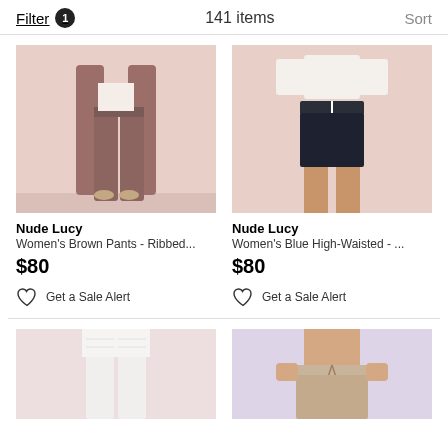Filter 1   141 items   Sort
[Figure (photo): Woman wearing brown wide-leg ribbed pants with a long cardigan, pink background]
Nude Lucy
Women's Brown Pants - Ribbed...
$80
Get a Sale Alert
[Figure (photo): Woman wearing blue high-waisted shorts with white drawstring and a white crop top, pink background]
Nude Lucy
Women's Blue High-Waisted - ...
$80
Get a Sale Alert
[Figure (photo): Woman wearing white wide-leg pants, pink background, partial view]
[Figure (photo): Woman wearing beige shorts with drawstring, lavender background, partial view]